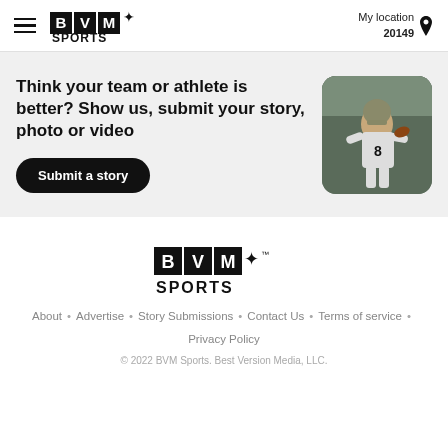BVM Sports — My location 20149
Think your team or athlete is better? Show us, submit your story, photo or video
Submit a story
[Figure (photo): Football player wearing number 8 jersey in white uniform, in throwing pose, outdoors with trees in background]
[Figure (logo): BVM Sports logo large, centered]
About · Advertise · Story Submissions · Contact Us · Terms of service · Privacy Policy
© 2022 BVM Sports. Best Version Media, LLC.